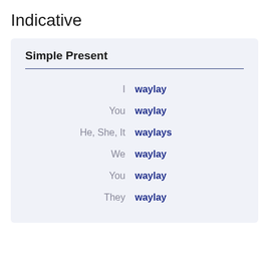Indicative
Simple Present
| Pronoun | Verb |
| --- | --- |
| I | waylay |
| You | waylay |
| He, She, It | waylays |
| We | waylay |
| You | waylay |
| They | waylay |